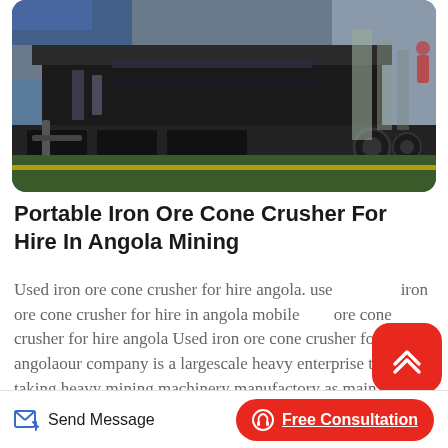[Figure (photo): Industrial portable cone crusher machinery, large heavy equipment with metal frame and wheels, photographed in a workshop or factory setting with green floor visible.]
Portable Iron Ore Cone Crusher For Hire In Angola Mining
Used iron ore cone crusher for hire angola. used iron ore cone crusher for hire in angola mobile ore cone crusher for hire angola Used iron ore cone crusher for hire in angolaour company is a largescale heavy enterprise that taking heavy mining machinery manufactory as main products and integrated with scientific research production and marketing we are concentrating on producing
Send Message
Free Consultation